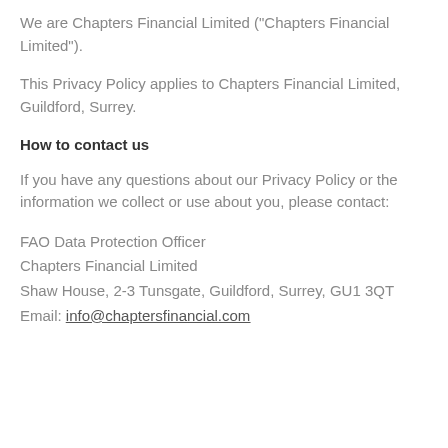We are Chapters Financial Limited ("Chapters Financial Limited").
This Privacy Policy applies to Chapters Financial Limited, Guildford, Surrey.
How to contact us
If you have any questions about our Privacy Policy or the information we collect or use about you, please contact:
FAO Data Protection Officer
Chapters Financial Limited
Shaw House, 2-3 Tunsgate, Guildford, Surrey, GU1 3QT
Email: info@chaptersfinancial.com